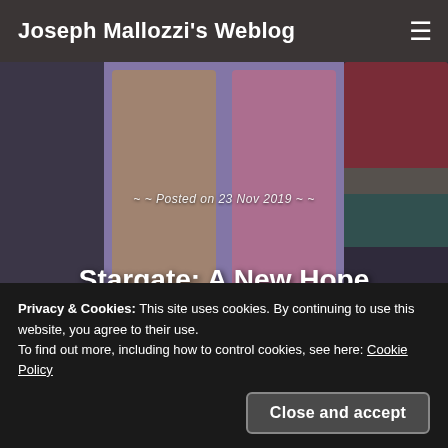Joseph Mallozzi's Weblog
[Figure (photo): Three pug dogs in a collage hero image. Left: black pug outdoors. Center-left: fawn pug portrait. Center: black pug wearing pink hat. Right: black pug wearing red and green elf costume.]
Posted on 23 Nov 2019
Stargate: A New Hope
Privacy & Cookies: This site uses cookies. By continuing to use this website, you agree to their use.
To find out more, including how to control cookies, see here: Cookie Policy
Close and accept